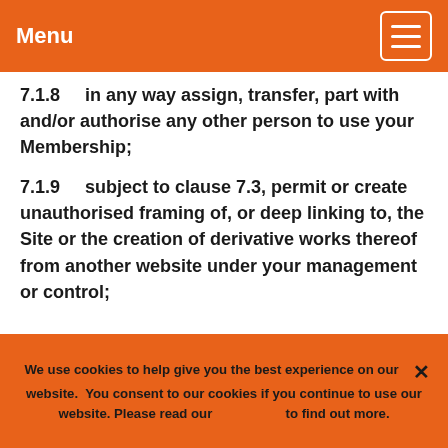Menu
7.1.8    in any way assign, transfer, part with and/or authorise any other person to use your Membership;
7.1.9    subject to clause 7.3, permit or create unauthorised framing of, or deep linking to, the Site or the creation of derivative works thereof from another website under your management or control;
We use cookies to help give you the best experience on our website.  You consent to our cookies if you continue to use our website. Please read our [cookie policy] to find out more.